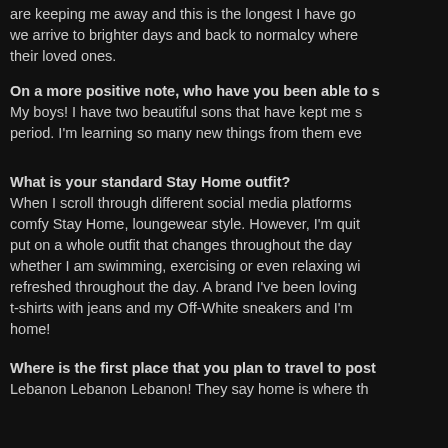are keeping me away and this is the longest I have go... we arrive to brighter days and back to normalcy where... their loved ones.
On a more positive note, who have you been able to s... My boys! I have two beautiful sons that have kept me s... period. I'm learning so many new things from them eve...
What is your standard Stay Home outfit? When I scroll through different social media platforms... comfy Stay Home, loungewear style. However, I'm quite... put on a whole outfit that changes throughout the day... whether I am swimming, exercising or even relaxing wi... refreshed throughout the day. A brand I've been loving... t-shirts with jeans and my Off-White sneakers and I'm... home!
Where is the first place that you plan to travel to post... Lebanon Lebanon Lebanon! They say home is where th...